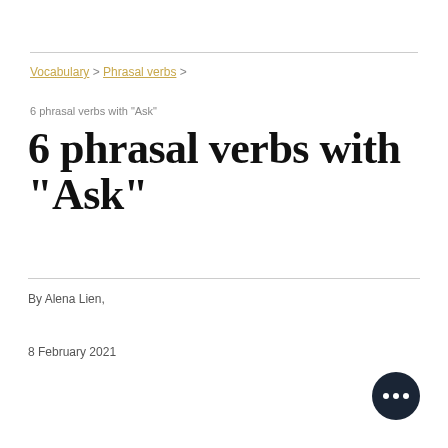Vocabulary > Phrasal verbs >
6 phrasal verbs with "Ask"
6 phrasal verbs with "Ask"
By Alena Lien,
8 February 2021